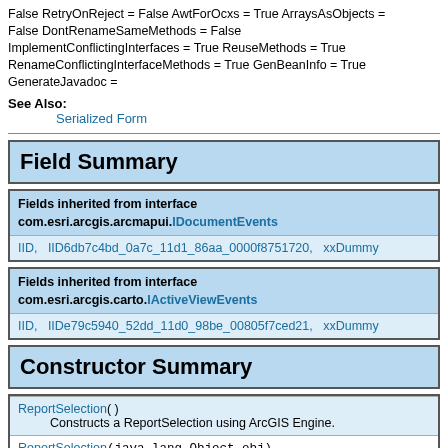False RetryOnReject = False AwtForOcxs = True ArraysAsObjects = False DontRenameSameMethods = False ImplementConflictingInterfaces = True ReuseMethods = True RenameConflictingInterfaceMethods = True GenBeanInfo = True GenerateJavadoc =
See Also:
Serialized Form
Field Summary
| Fields inherited from interface com.esri.arcgis.arcmapui.IDocumentEvents |
| --- |
| IID,   IID6db7c4bd_0a7c_11d1_86aa_0000f8751720,   xxDummy |
| Fields inherited from interface com.esri.arcgis.carto.IActiveViewEvents |
| --- |
| IID,   IIDe79c5940_52dd_11d0_98be_00805f7ced21,   xxDummy |
Constructor Summary
| ReportSelection() | Constructs a ReportSelection using ArcGIS Engine. |
| ReportSelection(java.lang.Object obj) |